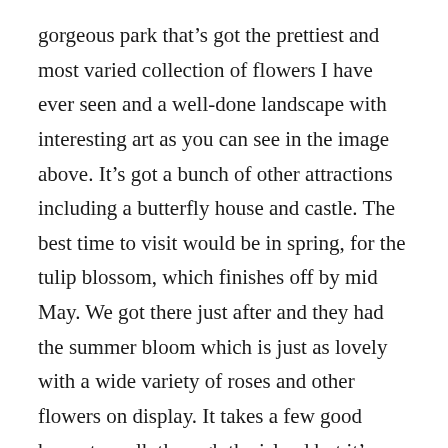gorgeous park that's got the prettiest and most varied collection of flowers I have ever seen and a well-done landscape with interesting art as you can see in the image above. It's got a bunch of other attractions including a butterfly house and castle. The best time to visit would be in spring, for the tulip blossom, which finishes off by mid May. We got there just after and they had the summer bloom which is just as lovely with a wide variety of roses and other flowers on display. It takes a few good hours to walk through the island but it's totally worth it and you can take a quick pause and sit at one of the many benches you'll find by the shore, offering you wonderful views of the lake. We left the island on a boat and saw beautiful little towns pass us by before we got off at Konstanz.